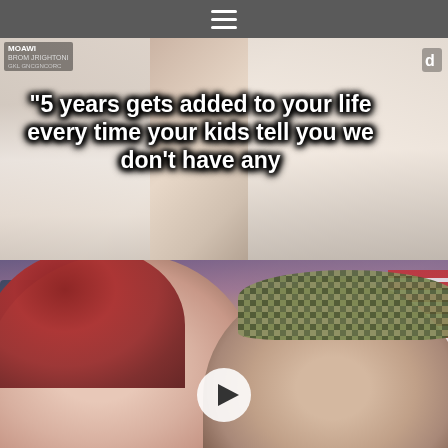Navigation menu (hamburger icon)
[Figure (screenshot): TikTok video screenshot showing a woman with red lipstick smiling, with text overlay reading: "5 years gets added to your life every time your kids tell you we don't have any"]
[Figure (photo): Selfie photo of a woman with auburn/red hair and red lipstick smiling on the left, and a man wearing a camouflage cap on the right, with a play button overlay in the center]